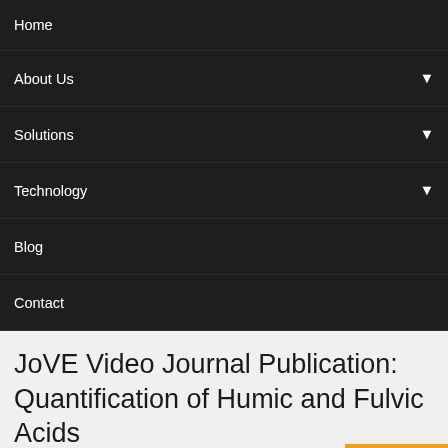Home
About Us
Solutions
Technology
Blog
Contact
JoVE Video Journal Publication: Quantification of Humic and Fulvic Acids
Translate »